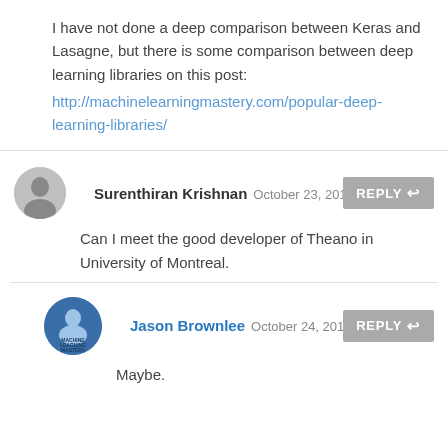I have not done a deep comparison between Keras and Lasagne, but there is some comparison between deep learning libraries on this post: http://machinelearningmastery.com/popular-deep-learning-libraries/
Surenthiran Krishnan October 23, 2019 at 2:...
Can I meet the good developer of Theano in University of Montreal.
Jason Brownlee October 24, 2019 at 5:33...
Maybe.